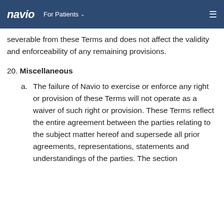navio   For Patients ∨   ≡
severable from these Terms and does not affect the validity and enforceability of any remaining provisions.
20. Miscellaneous
a. The failure of Navio to exercise or enforce any right or provision of these Terms will not operate as a waiver of such right or provision. These Terms reflect the entire agreement between the parties relating to the subject matter hereof and supersede all prior agreements, representations, statements and understandings of the parties. The section